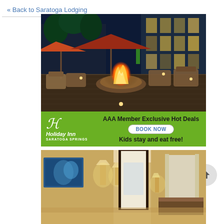« Back to Saratoga Lodging
[Figure (photo): Holiday Inn Saratoga Springs outdoor patio with fire pit, lounge chairs, orange umbrellas, and illuminated hotel exterior at dusk. Green banner at bottom reads: AAA Member Exclusive Hot Deals, BOOK NOW, Kids stay and eat free! with Holiday Inn Saratoga Springs logo.]
[Figure (photo): Hotel room interior showing warm-lit room with lamps, dark wood door frame, mirror, and modern furnishings at Holiday Inn Saratoga Springs.]